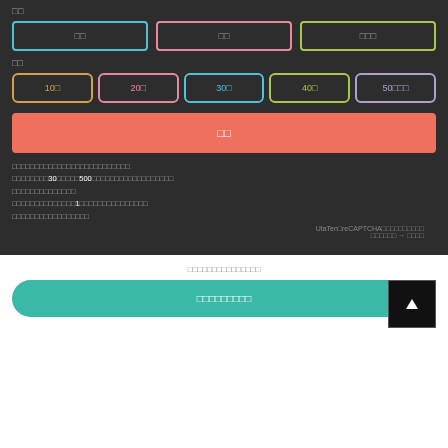□□
[Figure (screenshot): Three buttons with colored borders: blue, pink, green. Labels: □□, □□, □□□]
□□
[Figure (screenshot): Five amount selection buttons: 10□ (orange), 20□ (pink), 30□ (blue), 40□ (green), 50□□□ (purple)]
[Figure (screenshot): Red/coral submit button with text □□]
□□□□□□□□□□□□□□□□□□□□□□□□□□□□□□□□□□□□□□□□30□□□□□500□□□□□□□□□□□□□□□□□□□□□□□□□□□□□□□□□□□□□□□□□□□1□□□□□□□□□□□□□□□□□□□□□□□□□□□□□□□□
UtaTen□reCAPTCHA□□□□□□□□□□
□□□□□□ → □□□□
□□□□□□□□□□□□□□□
[Figure (screenshot): Teal rounded button with text □□□□□□□□□]